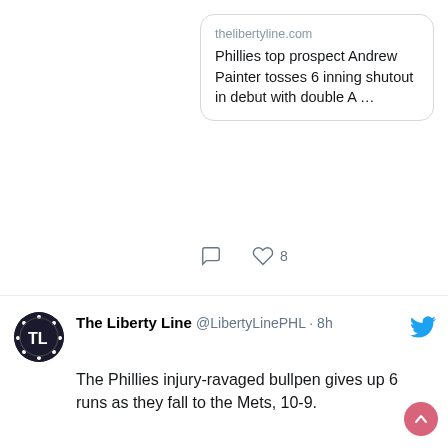[Figure (screenshot): Link card preview for thelibertyline.com article: Phillies top prospect Andrew Painter tosses 6 inning shutout in debut with double A ...]
thelibertyline.com
Phillies top prospect Andrew Painter tosses 6 inning shutout in debut with double A ...
♡ 8 (like count)
The Liberty Line @LibertyLinePHL · 8h
The Phillies injury-ravaged bullpen gives up 6 runs as they fall to the Mets, 10-9.
#RingTheBell | @SlowbiasH
thelibertyline.com/2022/08/21/phi...
[Figure (photo): Baseball player in New York Mets gray uniform with number 19, arm raised pointing upward, crowd in background]